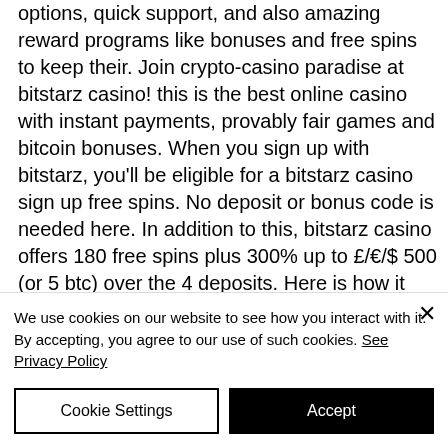options, quick support, and also amazing reward programs like bonuses and free spins to keep their. Join crypto-casino paradise at bitstarz casino! this is the best online casino with instant payments, provably fair games and bitcoin bonuses. When you sign up with bitstarz, you'll be eligible for a bitstarz casino sign up free spins. No deposit or bonus code is needed here. In addition to this, bitstarz casino offers 180 free spins plus 300% up to £/€/$ 500 (or 5 btc) over the 4 deposits. Here is how it works in practice:. Join the fun at bitstarz casino and get your hands on up to 200 free spins. This free spin bonus consists of 20 no deposit free spins and up to. Free
We use cookies on our website to see how you interact with it. By accepting, you agree to our use of such cookies. See Privacy Policy
Cookie Settings
Accept